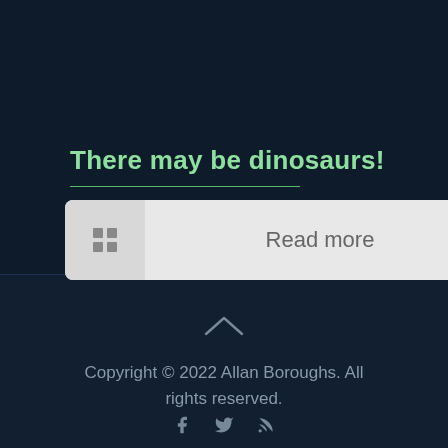There may be dinosaurs!
Read more
[Figure (other): Up chevron arrow icon in gray]
Copyright © 2022 Allan Boroughs. All rights reserved.
[Figure (other): Social media icons: Facebook, Twitter, RSS feed]